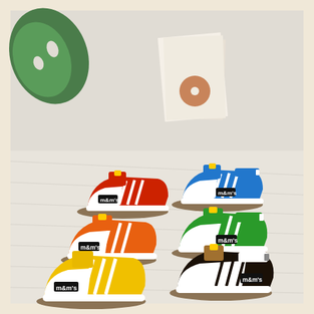[Figure (photo): Product photo showing six M&M's x Adidas Forum Low sneakers arranged on a white wooden floor in front of vinyl records and a monstera plant. The shoes come in six colorways matching M&M candy colors: red, blue, orange, green, yellow, and brown/dark chocolate. Each shoe is white-based with colorful accents and features the M&M's logo on the side along with Adidas three stripes.]